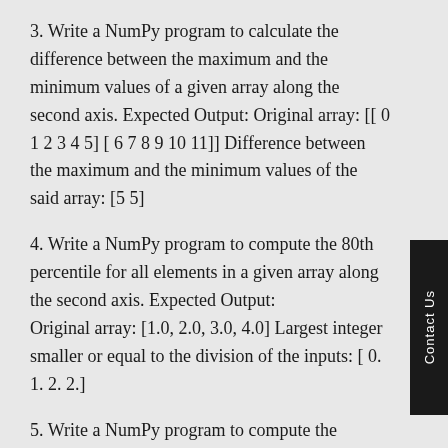3. Write a NumPy program to calculate the difference between the maximum and the minimum values of a given array along the second axis. Expected Output: Original array: [[ 0 1 2 3 4 5] [ 6 7 8 9 10 11]] Difference between the maximum and the minimum values of the said array: [5 5]
4. Write a NumPy program to compute the 80th percentile for all elements in a given array along the second axis. Expected Output: Original array: [1.0, 2.0, 3.0, 4.0] Largest integer smaller or equal to the division of the inputs: [ 0.  1.  2.  2.]
5. Write a NumPy program to compute the median of the flattened given array. Note: First array elements raised to powers from second array Expected Output: Original array: [[ 0 1 2 3 4 5] [ 6 7 8 9 10 11]] Median of